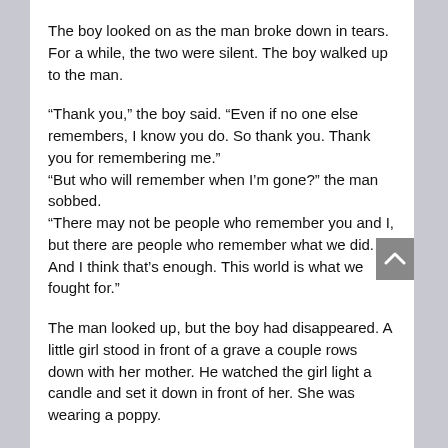The boy looked on as the man broke down in tears. For a while, the two were silent. The boy walked up to the man.
“Thank you,” the boy said. “Even if no one else remembers, I know you do. So thank you. Thank you for remembering me.” “But who will remember when I’m gone?” the man sobbed. “There may not be people who remember you and I, but there are people who remember what we did. And I think that’s enough. This world is what we fought for.”
The man looked up, but the boy had disappeared. A little girl stood in front of a grave a couple rows down with her mother. He watched the girl light a candle and set it down in front of her. She was wearing a poppy.